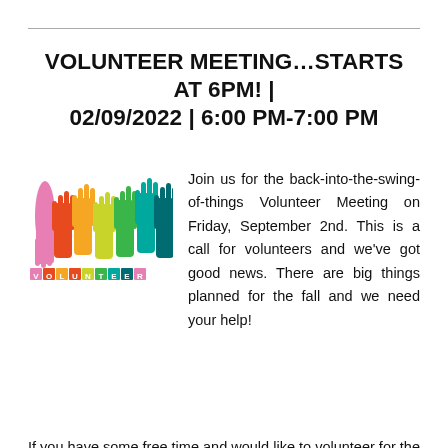VOLUNTEER MEETING…STARTS AT 6PM! | 02/09/2022 | 6:00 PM-7:00 PM
[Figure (illustration): Colorful raised hands illustration with the word VOLUNTEER at the bottom in colored letter blocks]
Join us for the back-into-the-swing-of-things Volunteer Meeting on Friday, September 2nd. This is a call for volunteers and we've got good news. There are big things planned for the fall and we need your help!
If you have some free time and would like to volunteer for the library in the coming year, come to this organizational meeting. At this meeting, we will explain the different projects for the year...